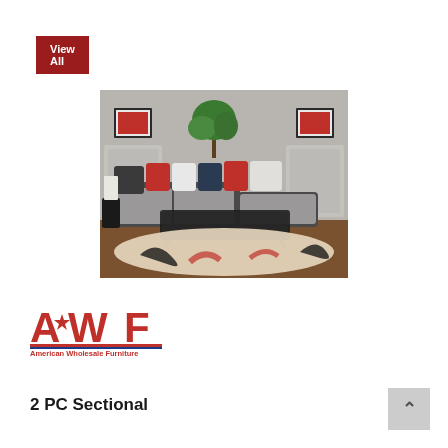View All
[Figure (photo): A grey L-shaped sectional sofa with colorful pillows in red, black, and white, placed on a red and black swirl patterned rug in a modern living room setting with a dark glass coffee table.]
[Figure (logo): AWF - American Wholesale Furniture logo with red, white, and blue star graphic and bold AWF letters in red]
2 PC Sectional